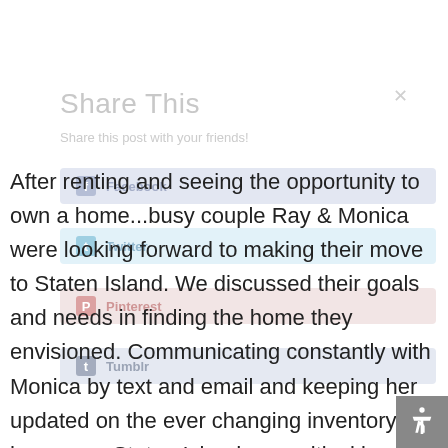Share This
Share this post with your friends!
After renting and seeing the opportunity to own a home...busy couple Ray & Monica were looking forward to making their move to Staten Island. We discussed their goals and needs in finding the home they envisioned. Communicating constantly with Monica by text and email and keeping her updated on the ever changing inventory of homes on Staten Island was critical in finding the right home.